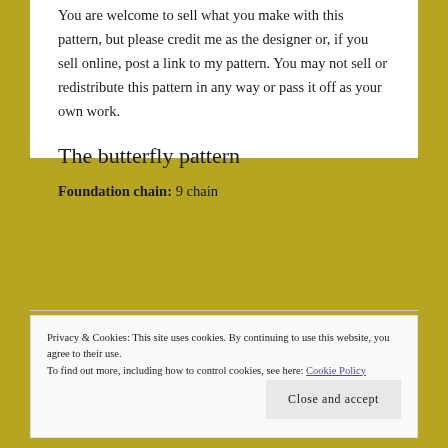You are welcome to sell what you make with this pattern, but please credit me as the designer or, if you sell online, post a link to my pattern. You may not sell or redistribute this pattern in any way or pass it off as your own work.
The butterfly pattern
Foundation chain: 9 chain
Privacy & Cookies: This site uses cookies. By continuing to use this website, you agree to their use.
To find out more, including how to control cookies, see here: Cookie Policy